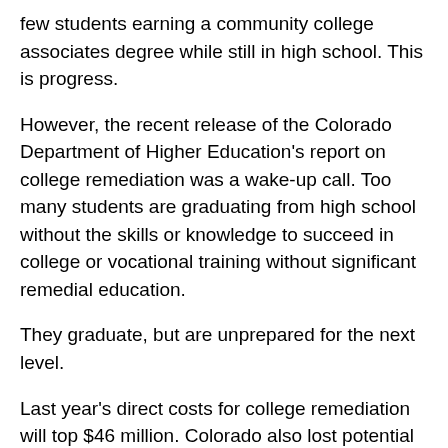few students earning a community college associates degree while still in high school. This is progress.
However, the recent release of the Colorado Department of Higher Education's report on college remediation was a wake-up call. Too many students are graduating from high school without the skills or knowledge to succeed in college or vocational training without significant remedial education.
They graduate, but are unprepared for the next level.
Last year's direct costs for college remediation will top $46 million. Colorado also lost potential tax revenue from under-employed college dropouts. Many of these young adults drop out of college because they can't do the work … and they're carrying sizeable student loans without improved job prospects. There is likelihood that their families will need public health care and social services.
We wouldn't be surprised if the total cost for Colorado's crisis in college preparedness is in the billions. And worse: There is